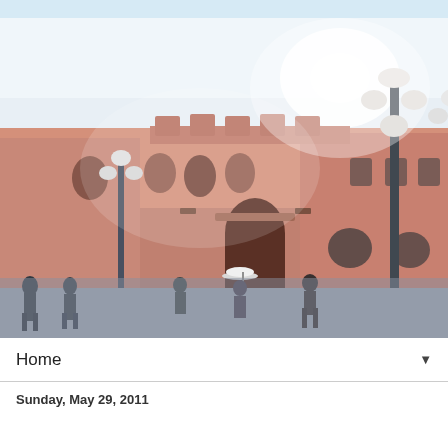[Figure (photo): A photo of a large pink/terracotta neoclassical government building (Casa Rosada, Argentina) with ornate arches, balconies, and tall lamp posts in the foreground. People are walking in the plaza in front of the building. The sky is bright/white and the image has a slightly blurred, artistic quality.]
Home ▼
Sunday, May 29, 2011
...